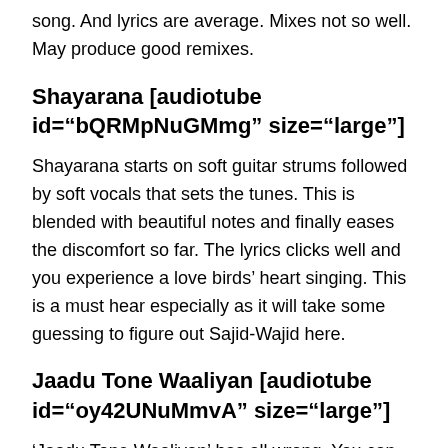song. And lyrics are average. Mixes not so well. May produce good remixes.
Shayarana [audiotube id="bQRMpNuGMmg" size="large"]
Shayarana starts on soft guitar strums followed by soft vocals that sets the tunes. This is blended with beautiful notes and finally eases the discomfort so far. The lyrics clicks well and you experience a love birds' heart singing. This is a must hear especially as it will take some guessing to figure out Sajid-Wajid here.
Jaadu Tone Waaliyan [audiotube id="oy42UNuMmvA" size="large"]
'Jaadu Tone Waaliyan' has all wrong. You can not put in rock music everywhere and make bhajans click. A perfect in sync